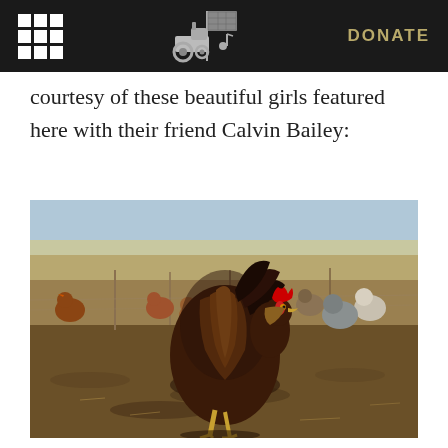DONATE
courtesy of these beautiful girls featured here with their friend Calvin Bailey:
[Figure (photo): A rooster and several hens in an outdoor free-range farm setting on dry ground. A large dark brown and gold rooster stands prominently in the foreground, with many other chickens of various colors visible in the background. A fence line and open fields are visible in the distance under a clear sky.]